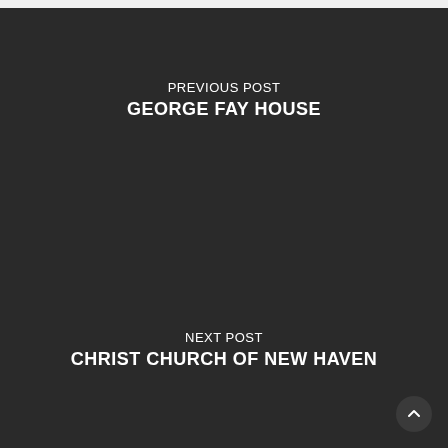PREVIOUS POST
GEORGE FAY HOUSE
NEXT POST
CHRIST CHURCH OF NEW HAVEN